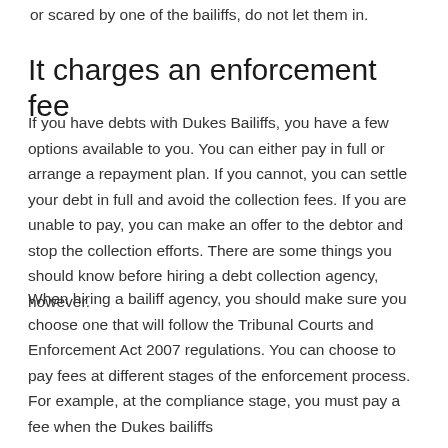or scared by one of the bailiffs, do not let them in.
It charges an enforcement fee
If you have debts with Dukes Bailiffs, you have a few options available to you. You can either pay in full or arrange a repayment plan. If you cannot, you can settle your debt in full and avoid the collection fees. If you are unable to pay, you can make an offer to the debtor and stop the collection efforts. There are some things you should know before hiring a debt collection agency, however.
When hiring a bailiff agency, you should make sure you choose one that will follow the Tribunal Courts and Enforcement Act 2007 regulations. You can choose to pay fees at different stages of the enforcement process. For example, at the compliance stage, you must pay a fee when the Dukes bailiffs